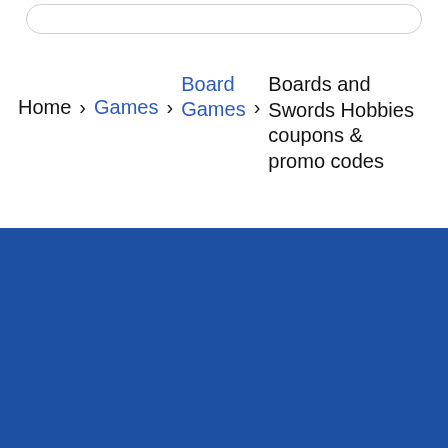Home > Games > Board Games > Boards and Swords Hobbies coupons & promo codes
[Figure (logo): DealDrop parachute logo with white icon and bold white text 'DealDrop' on blue background]
Find the best coupons, deals, promo codes and discounts for thousands of your favorite stores at DealDrop. Save money at the checkout.